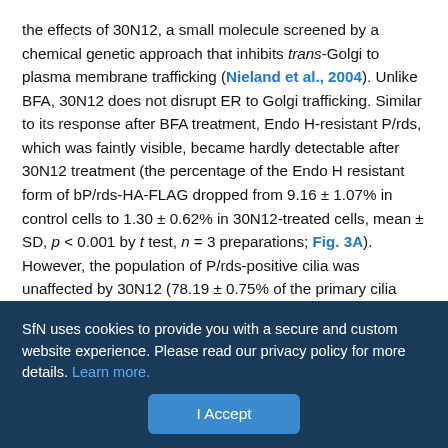the effects of 30N12, a small molecule screened by a chemical genetic approach that inhibits trans-Golgi to plasma membrane trafficking (Nieland et al., 2004). Unlike BFA, 30N12 does not disrupt ER to Golgi trafficking. Similar to its response after BFA treatment, Endo H-resistant P/rds, which was faintly visible, became hardly detectable after 30N12 treatment (the percentage of the Endo H resistant form of bP/rds-HA-FLAG dropped from 9.16 ± 1.07% in control cells to 1.30 ± 0.62% in 30N12-treated cells, mean ± SD, p < 0.001 by t test, n = 3 preparations; Fig. 3A). However, the population of P/rds-positive cilia was unaffected by 30N12 (78.19 ± 0.75% of the primary cilia were positive with bP/rds-HA-FLAG in 30N12 treatment, 615 cilia from n = 3 preparations, compared with 79.85 ± 2.75% in control, 529 cilia from n = 3 preparations, mean ± SD, p = 0.456 by t
SfN uses cookies to provide you with a secure and custom website experience. Please read our privacy policy for more details. Learn more.